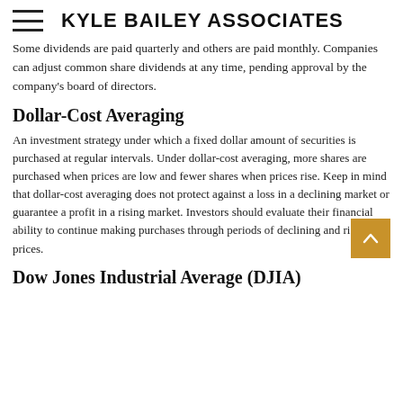KYLE BAILEY ASSOCIATES
Some dividends are paid quarterly and others are paid monthly. Companies can adjust common share dividends at any time, pending approval by the company's board of directors.
Dollar-Cost Averaging
An investment strategy under which a fixed dollar amount of securities is purchased at regular intervals. Under dollar-cost averaging, more shares are purchased when prices are low and fewer shares when prices rise. Keep in mind that dollar-cost averaging does not protect against a loss in a declining market or guarantee a profit in a rising market. Investors should evaluate their financial ability to continue making purchases through periods of declining and rising prices.
Dow Jones Industrial Average (DJIA)